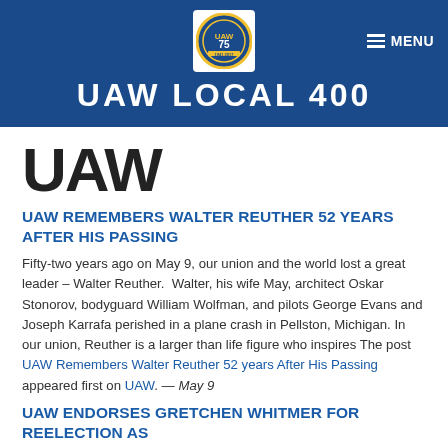UAW LOCAL 400
UAW
UAW REMEMBERS WALTER REUTHER 52 YEARS AFTER HIS PASSING
Fifty-two years ago on May 9, our union and the world lost a great leader – Walter Reuther.  Walter, his wife May, architect Oskar Stonorov, bodyguard William Wolfman, and pilots George Evans and Joseph Karrafa perished in a plane crash in Pellston, Michigan. In our union, Reuther is a larger than life figure who inspires The post UAW Remembers Walter Reuther 52 years After His Passing appeared first on UAW. — May 9
UAW ENDORSES GRETCHEN WHITMER FOR REELECTION AS